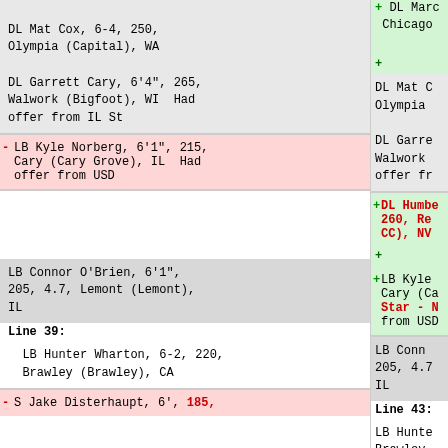DL Mat Cox, 6-4, 250, Olympia (Capital), WA
DL Garrett Cary, 6'4", 265, Walwork (Bigfoot), WI Had offer from IL St
- LB Kyle Norberg, 6'1", 215, Cary (Cary Grove), IL Had offer from USD
LB Connor O'Brien, 6'1", 205, 4.7, Lemont (Lemont), IL
Line 39:
LB Hunter Wharton, 6-2, 220, Brawley (Brawley), CA
- S Jake Disterhaupt, 6', 185,